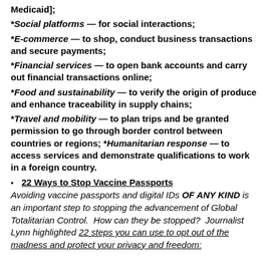Medicaid];
*Social platforms — for social interactions;
*E-commerce — to shop, conduct business transactions and secure payments;
*Financial services — to open bank accounts and carry out financial transactions online;
*Food and sustainability — to verify the origin of produce and enhance traceability in supply chains;
*Travel and mobility — to plan trips and be granted permission to go through border control between countries or regions; *Humanitarian response — to access services and demonstrate qualifications to work in a foreign country.
22 Ways to Stop Vaccine Passports
Avoiding vaccine passports and digital IDs OF ANY KIND is an important step to stopping the advancement of Global Totalitarian Control.  How can they be stopped?  Journalist Lynn highlighted 22 steps you can use to opt out of the madness and protect your privacy and freedom: